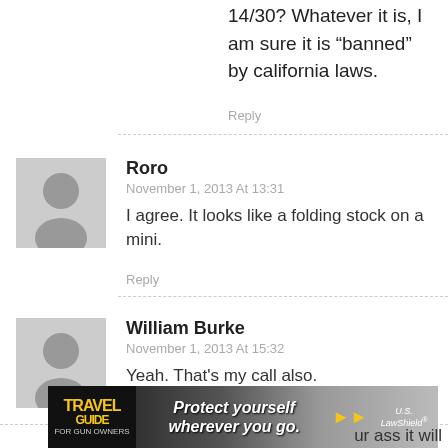14/30? Whatever it is, I am sure it is “banned” by california laws.
Reply
Roro
November 1, 2013 At 13:31
I agree. It looks like a folding stock on a mini.
Reply
William Burke
November 1, 2013 At 15:32
Yeah. That's my call also.
Reply
speedracer5050
[Figure (photo): Travel Guide for Gun Owners advertisement banner with text 'Protect yourself wherever you go.' and U.S. LawShield logo]
ur ass it will